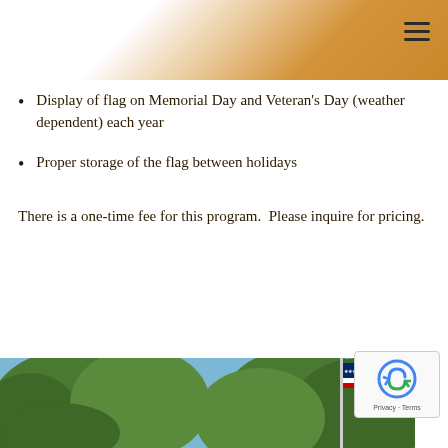[Figure (other): Golden gradient header banner with hamburger menu icon in top right corner]
Display of flag on Memorial Day and Veteran's Day (weather dependent) each year
Proper storage of the flag between holidays
There is a one-time fee for this program.  Please inquire for pricing.
[Figure (photo): Outdoor photograph showing trees with green foliage against a blue sky, with an American flag visible on the right side]